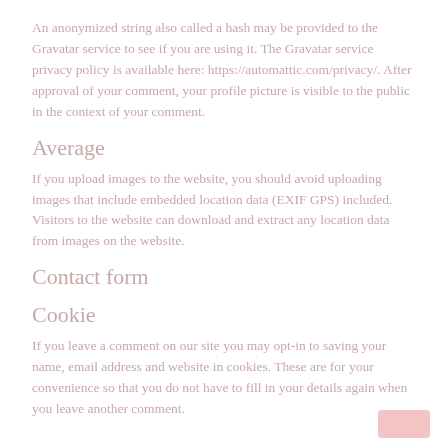An anonymized string also called a hash may be provided to the Gravatar service to see if you are using it. The Gravatar service privacy policy is available here: https://automattic.com/privacy/. After approval of your comment, your profile picture is visible to the public in the context of your comment.
Average
If you upload images to the website, you should avoid uploading images that include embedded location data (EXIF GPS) included. Visitors to the website can download and extract any location data from images on the website.
Contact form
Cookie
If you leave a comment on our site you may opt-in to saving your name, email address and website in cookies. These are for your convenience so that you do not have to fill in your details again when you leave another comment.